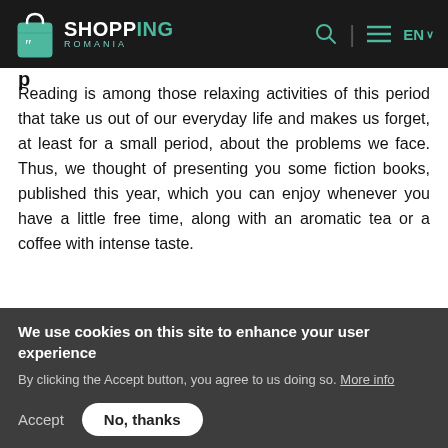SHOPPING ROMANIA
Reading is among those relaxing activities of this period that take us out of our everyday life and makes us forget, at least for a small period, about the problems we face. Thus, we thought of presenting you some fiction books, published this year, which you can enjoy whenever you have a little free time, along with an aromatic tea or a coffee with intense taste.
De: Betty • 13 May 2020 • In #reading
We use cookies on this site to enhance your user experience
By clicking the Accept button, you agree to us doing so. More info
Accept  No, thanks